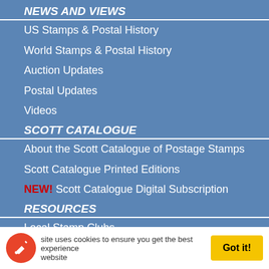NEWS AND VIEWS
US Stamps & Postal History
World Stamps & Postal History
Auction Updates
Postal Updates
Videos
SCOTT CATALOGUE
About the Scott Catalogue of Postage Stamps
Scott Catalogue Printed Editions
NEW! Scott Catalogue Digital Subscription
RESOURCES
Local Stamp Clubs
Events
Stamp Issuing Entities Of The World
Postal Administrations Of The World
STAMP PROGRAMS
U.S. Stamp Programs
This site uses cookies to ensure you get the best experience on our website